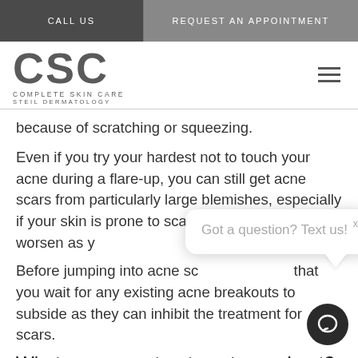CALL US | REQUEST AN APPOINTMENT
[Figure (logo): CSC Complete Skin Care Steil Dermatology logo]
because of scratching or squeezing.
Even if you try your hardest not to touch your acne during a flare-up, you can still get acne scars from particularly large blemishes, especially if your skin is prone to scarring. Acne scars also worsen as y[ou age due to the] loss of collagen.
Before jumping into acne sc[ar treatments, it's important] that you wait for any existing acne breakouts to subside as they can inhibit the treatment for scars.
What acne scar treatments can I get?